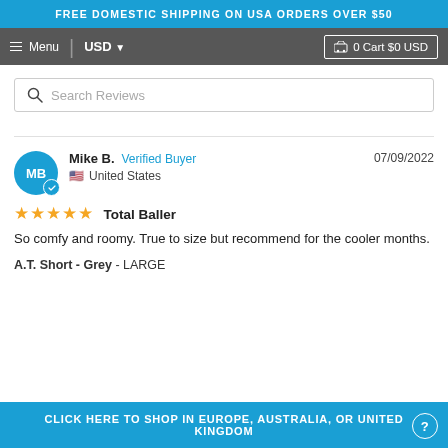FREE DOMESTIC SHIPPING ON USA ORDERS OVER $50
≡ Menu | USD ▼ | 🛒 0 Cart $0 USD
Search Reviews
Mike B. Verified Buyer  07/09/2022  United States
★★★★★ Total Baller
So comfy and roomy. True to size but recommend for the cooler months.
A.T. Short - Grey - LARGE
CLICK HERE TO SHOP IN EUROPE, AUSTRALIA, OR UNITED KINGDOM